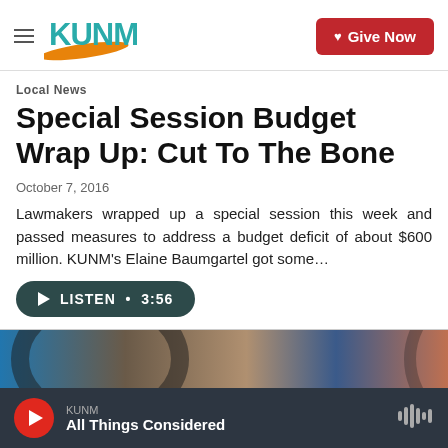KUNM | Give Now
Local News
Special Session Budget Wrap Up: Cut To The Bone
October 7, 2016
Lawmakers wrapped up a special session this week and passed measures to address a budget deficit of about $600 million. KUNM's Elaine Baumgartel got some…
LISTEN • 3:56
[Figure (photo): Partial image of a building or curved structure visible at the bottom of the article area]
KUNM — All Things Considered